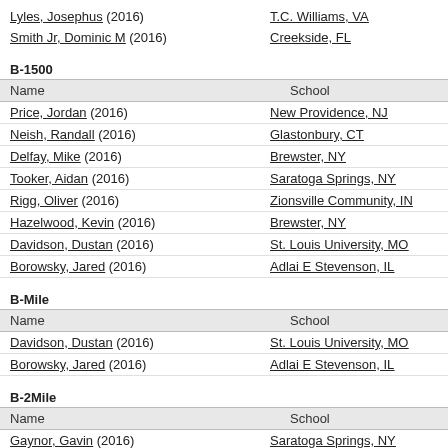Lyles, Josephus (2016) — T.C. Williams, VA
Smith Jr, Dominic M (2016) — Creekside, FL
B-1500
| Name | School |
| --- | --- |
| Price, Jordan (2016) | New Providence, NJ |
| Neish, Randall (2016) | Glastonbury, CT |
| Delfay, Mike (2016) | Brewster, NY |
| Tooker, Aidan (2016) | Saratoga Springs, NY |
| Rigg, Oliver (2016) | Zionsville Community, IN |
| Hazelwood, Kevin (2016) | Brewster, NY |
| Davidson, Dustan (2016) | St. Louis University, MO |
| Borowsky, Jared (2016) | Adlai E Stevenson, IL |
B-Mile
| Name | School |
| --- | --- |
| Davidson, Dustan (2016) | St. Louis University, MO |
| Borowsky, Jared (2016) | Adlai E Stevenson, IL |
B-2Mile
| Name | School |
| --- | --- |
| Gaynor, Gavin (2016) | Saratoga Springs, NY |
| Keith, Devyn (2016) | John Curtis, LA |